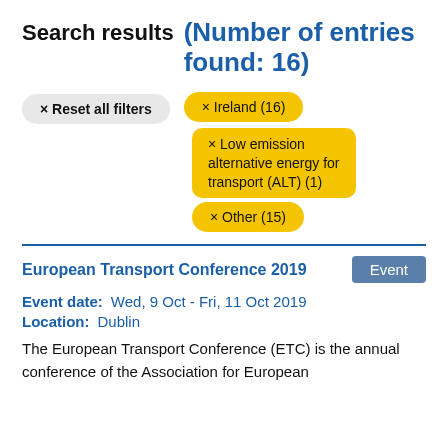Search results (Number of entries found: 16)
× Reset all filters
× Ireland (16)
× Low emission alternative energy for transport (ALT) (1)
× Other (15)
European Transport Conference 2019
Event
Event date:   Wed, 9 Oct - Fri, 11 Oct 2019
Location:   Dublin
The European Transport Conference (ETC) is the annual conference of the Association for European